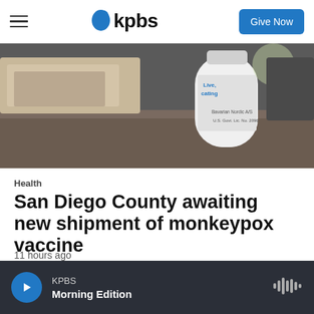KPBS — Give Now
[Figure (photo): Close-up photograph of a vaccine vial with text partially visible: 'Live, attating' and 'Bavarian Nordic A/S, U.S. Govt. Lic. No. 2096' on a dark background]
Health
San Diego County awaiting new shipment of monkeypox vaccine
11 hours ago
KPBS Morning Edition